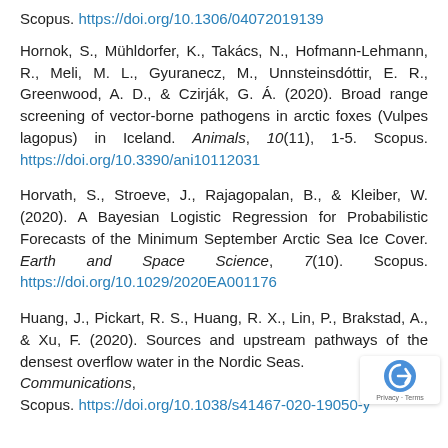Scopus. https://doi.org/10.1306/04072019139
Hornok, S., Mühldorfer, K., Takács, N., Hofmann-Lehmann, R., Meli, M. L., Gyuranecz, M., Unnsteinsdóttir, E. R., Greenwood, A. D., & Czirják, G. Á. (2020). Broad range screening of vector-borne pathogens in arctic foxes (Vulpes lagopus) in Iceland. Animals, 10(11), 1-5. Scopus. https://doi.org/10.3390/ani10112031
Horvath, S., Stroeve, J., Rajagopalan, B., & Kleiber, W. (2020). A Bayesian Logistic Regression for Probabilistic Forecasts of the Minimum September Arctic Sea Ice Cover. Earth and Space Science, 7(10). Scopus. https://doi.org/10.1029/2020EA001176
Huang, J., Pickart, R. S., Huang, R. X., Lin, P., Brakstad, A., & Xu, F. (2020). Sources and upstream pathways of the densest overflow water in the Nordic Seas. Communications, Scopus. https://doi.org/10.1038/s41467-020-19050-y